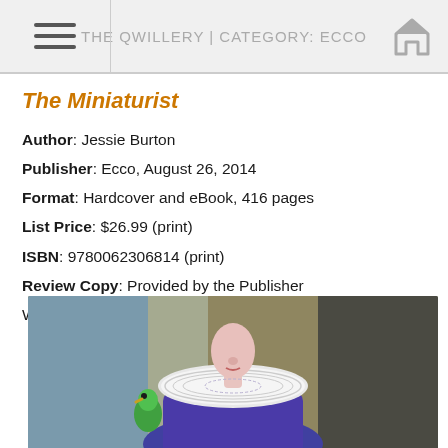THE QWILLERY | CATEGORY: ECCO
The Miniaturist
Author:  Jessie Burton
Publisher:  Ecco, August 26, 2014
Format:  Hardcover and eBook, 416 pages
List Price:  $26.99 (print)
ISBN:  9780062306814 (print)
Review Copy:  Provided by the Publisher
Will be published in Trade Paperback, June 2, 2015
[Figure (photo): Book cover art for The Miniaturist showing a Renaissance-style portrait of a headless figure wearing a large white ruff collar and blue/purple period clothing, holding a green parrot, against a dark background.]